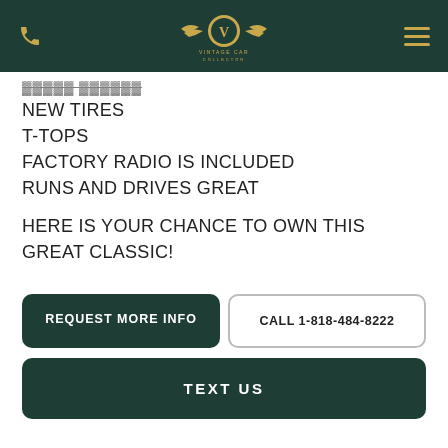VINTAGE CAR COLLECTOR
NEW TIRES
T-TOPS
FACTORY RADIO IS INCLUDED
RUNS AND DRIVES GREAT
HERE IS YOUR CHANCE TO OWN THIS GREAT CLASSIC!
REQUEST MORE INFO
CALL 1-818-484-8222
TEXT US